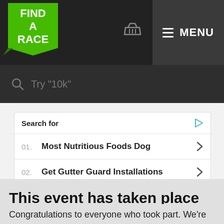[Figure (logo): Find A Race logo - green folded ribbon banner with white bold text reading FIND A RACE]
[Figure (screenshot): Basket/shopping cart icon in header]
MENU
Try "10k"
Search for
01. Most Nutritious Foods Dog
02. Get Gutter Guard Installations
Yahoo! Search | Sponsored
This event has taken place
Congratulations to everyone who took part. We're waiting on information about the next